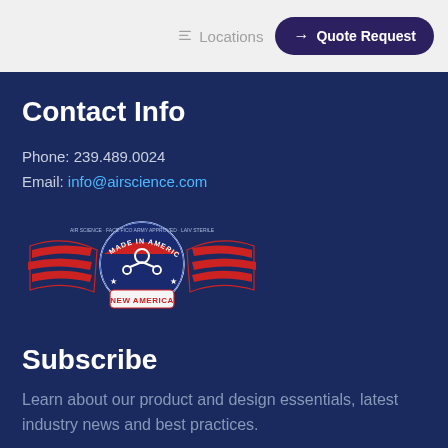Locations  Quote Request
Contact Info
Phone: 239.489.0024
Email: info@airscience.com
[Figure (logo): Made in America / New America logo badge with wings, red and white stripes, and a circular blue emblem]
Subscribe
Learn about our product and design essentials, latest industry news and best practices.